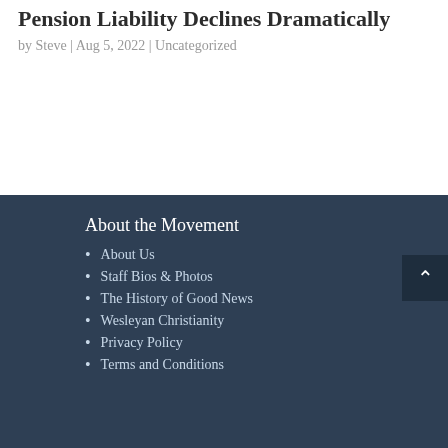Pension Liability Declines Dramatically
by Steve | Aug 5, 2022 | Uncategorized
About the Movement
About Us
Staff Bios & Photos
The History of Good News
Wesleyan Christianity
Privacy Policy
Terms and Conditions